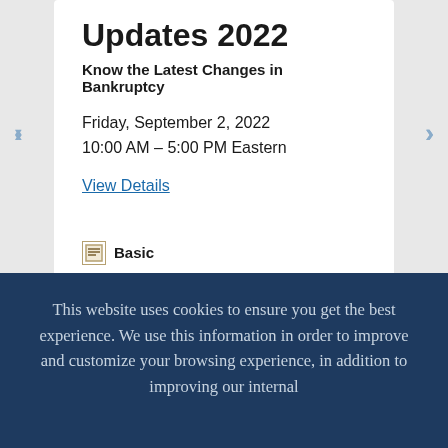Updates 2022
Know the Latest Changes in Bankruptcy
Friday, September 2, 2022
10:00 AM – 5:00 PM Eastern
View Details
Basic
BANKRUPTCY, FORECLOSURE & COLLECTION LAW
This website uses cookies to ensure you get the best experience. We use this information in order to improve and customize your browsing experience, in addition to improving our internal